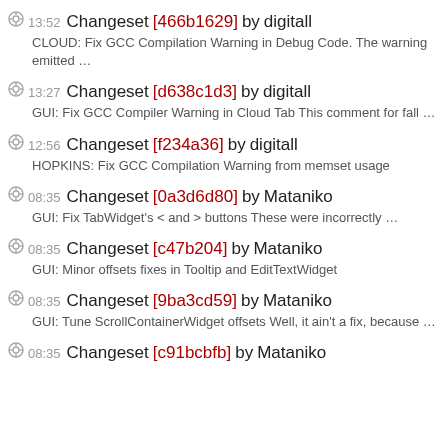13:52 Changeset [466b1629] by digitall — CLOUD: Fix GCC Compilation Warning in Debug Code. The warning emitted …
13:27 Changeset [d638c1d3] by digitall — GUI: Fix GCC Compiler Warning in Cloud Tab This comment for fall …
12:56 Changeset [f234a36] by digitall — HOPKINS: Fix GCC Compilation Warning from memset usage
08:35 Changeset [0a3d6d80] by Mataniko — GUI: Fix TabWidget's < and > buttons These were incorrectly …
08:35 Changeset [c47b204] by Mataniko — GUI: Minor offsets fixes in Tooltip and EditTextWidget
08:35 Changeset [9ba3cd59] by Mataniko — GUI: Tune ScrollContainerWidget offsets Well, it ain't a fix, because …
08:35 Changeset [c91bcbfb] by Mataniko